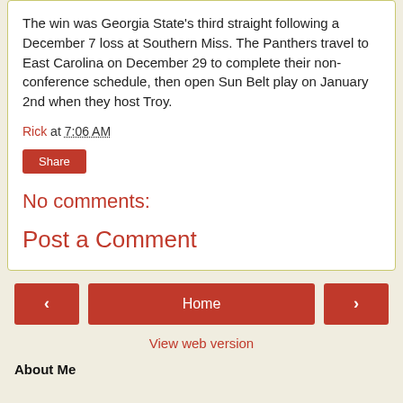The win was Georgia State's third straight following a December 7 loss at Southern Miss. The Panthers travel to East Carolina on December 29 to complete their non-conference schedule, then open Sun Belt play on January 2nd when they host Troy.
Rick at 7:06 AM
Share
No comments:
Post a Comment
‹ (previous) | Home | › (next)
View web version
About Me